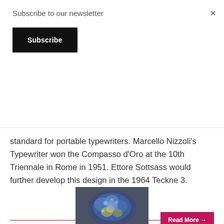Subscribe to our newsletter
Subscribe
×
standard for portable typewriters. Marcello Nizzoli's Typewriter won the Compasso d'Oro at the 10th Triennale in Rome in 1951. Ettore Sottsass would further develop this design in the 1964 Teckne 3.
Read More →
[Figure (photo): A blue and yellow crystalline or floral object on a dark grey background, partially visible at the bottom of the page.]